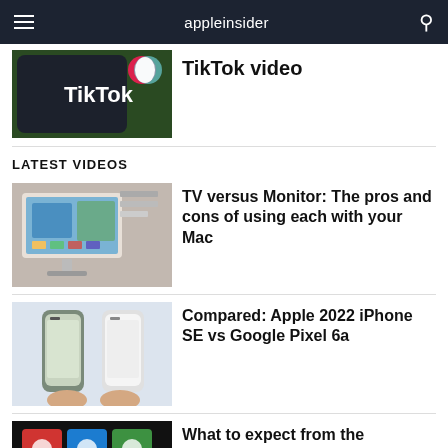appleinsider
TikTok video
LATEST VIDEOS
TV versus Monitor: The pros and cons of using each with your Mac
Compared: Apple 2022 iPhone SE vs Google Pixel 6a
What to expect from the